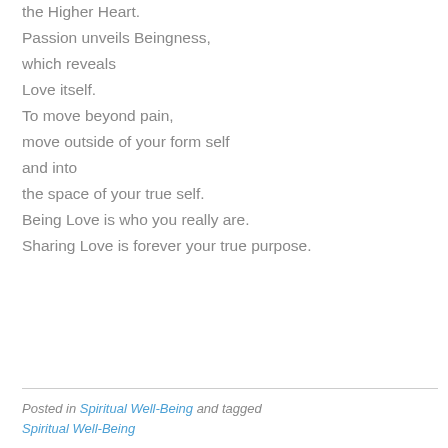the Higher Heart.
Passion unveils Beingness,
which reveals
Love itself.
To move beyond pain,
move outside of your form self
and into
the space of your true self.
Being Love is who you really are.
Sharing Love is forever your true purpose.
Posted in Spiritual Well-Being and tagged Spiritual Well-Being